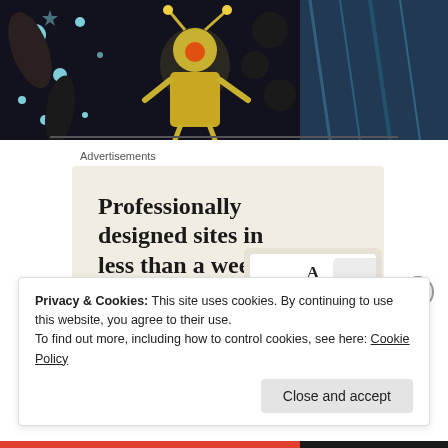[Figure (illustration): Comic book style illustration with colorful robot/mechanical figure, stars, and abstract background in dark colors with teal, yellow, and orange accents.]
Advertisements
[Figure (screenshot): Advertisement for website design service: 'Professionally designed sites in less than a week' with green 'Explore options' button and website mockup screenshots on beige background.]
Privacy & Cookies: This site uses cookies. By continuing to use this website, you agree to their use.
To find out more, including how to control cookies, see here: Cookie Policy
Close and accept